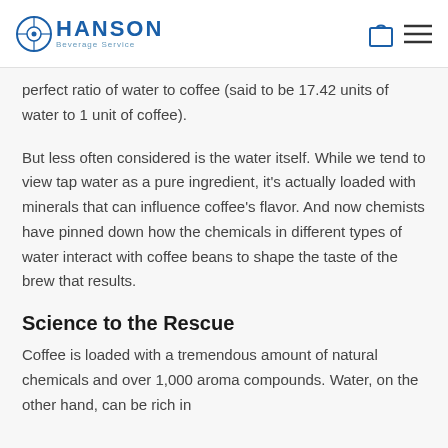HANSON Beverage Service
perfect ratio of water to coffee (said to be 17.42 units of water to 1 unit of coffee).
But less often considered is the water itself. While we tend to view tap water as a pure ingredient, it's actually loaded with minerals that can influence coffee's flavor. And now chemists have pinned down how the chemicals in different types of water interact with coffee beans to shape the taste of the brew that results.
Science to the Rescue
Coffee is loaded with a tremendous amount of natural chemicals and over 1,000 aroma compounds. Water, on the other hand, can be rich in